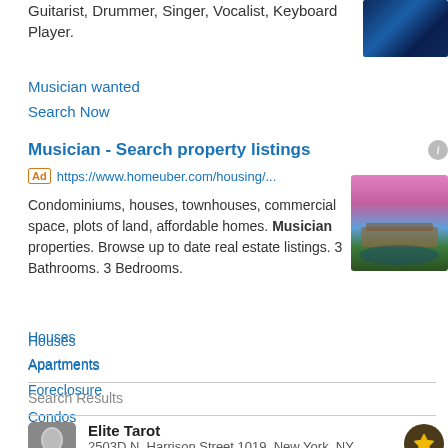Guitarist, Drummer, Singer, Vocalist, Keyboard Player.
Musician wanted
Search Now
Musician - Search property listings
Ad https://www.homeuber.com/housing/...
Condominiums, houses, townhouses, commercial space, plots of land, affordable homes. Musician properties. Browse up to date real estate listings. 3 Bathrooms. 3 Bedrooms.
Houses
Apartments
Foreclosure
Condos
[Figure (photo): Blue-lit stage photo]
[Figure (photo): House with pool and pink/purple sunset sky]
Search Results
Elite Tarot
2503D N. Harrison Street 1019, New York, NY
[Figure (photo): Profile avatar of a woman with dark hair]